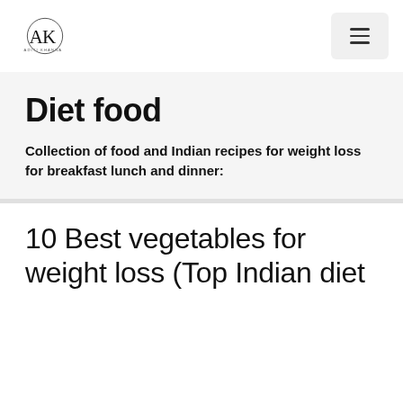AK logo + hamburger menu
Diet food
Collection of food and Indian recipes for weight loss for breakfast lunch and dinner:
10 Best vegetables for weight loss (Top Indian diet recipes)